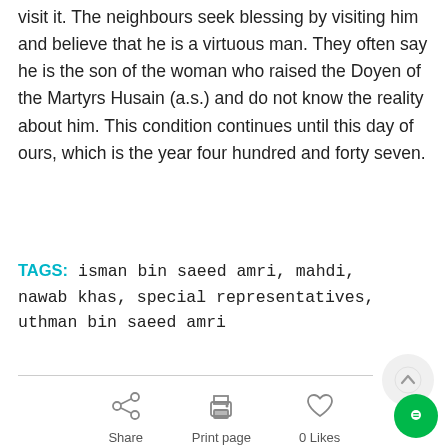visit it. The neighbours seek blessing by visiting him and believe that he is a virtuous man. They often say he is the son of the woman who raised the Doyen of the Martyrs Husain (a.s.) and do not know the reality about him. This condition continues until this day of ours, which is the year four hundred and forty seven.
TAGS: isman bin saeed amri, mahdi, nawab khas, special representatives, uthman bin saeed amri
[Figure (other): Share icon, Print page icon, 0 Likes heart icon, scroll-to-top arrow button, and chat bubble button]